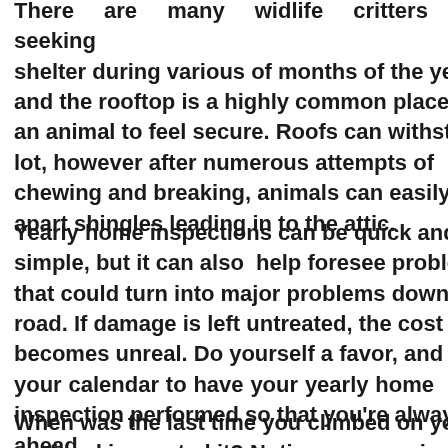There are many widlife critters seeking shelter during various of months of the year, and the rooftop is a highly common place for an animal to feel secure. Roofs can withstand a lot, however after numerous attempts of chewing and breaking, animals can easily break apart shingles leading in to the attic.
Yearly home inspections can be quick and simple, but it can also help foresee problems that could turn into major problems down the road. If damage is left untreated, the cost becomes unreal. Do yourself a favor, and mark your calendar to have your yearly home inspection performed so that you're always ahead.
When was the last time you climbed on your roof and inspected it? Notice any openings or ...